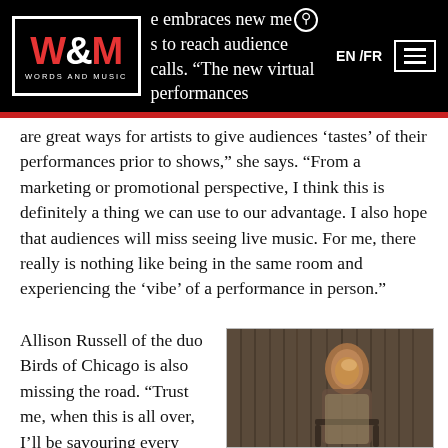W&M Words and Music — e embraces new means to reach audiences calls. "The new virtual performances
are great ways for artists to give audiences ‘tastes’ of their performances prior to shows,” she says. “From a marketing or promotional perspective, I think this is definitely a thing we can use to our advantage. I also hope that audiences will miss seeing live music. For me, there really is nothing like being in the same room and experiencing the ‘vibe’ of a performance in person.”
Allison Russell of the duo Birds of Chicago is also missing the road. “Trust me, when this is all over, I’ll be savouring every highway mile and red-eye flight,” she says wistfully.  “We’ve lost all of our shows
[Figure (photo): A woman (Allison Russell) laughing and smiling, seated on a chair, wearing a patterned dress, photographed against a rustic wooden plank wall background.]